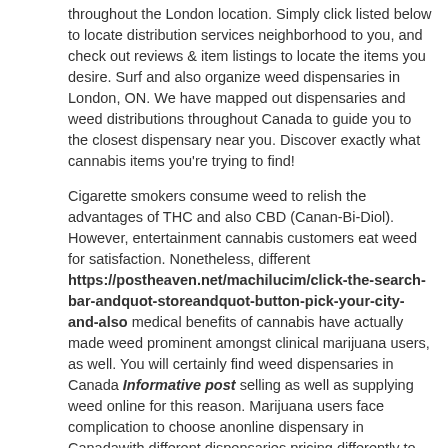throughout the London location. Simply click listed below to locate distribution services neighborhood to you, and check out reviews & item listings to locate the items you desire. Surf and also organize weed dispensaries in London, ON. We have mapped out dispensaries and weed distributions throughout Canada to guide you to the closest dispensary near you. Discover exactly what cannabis items you're trying to find!
Cigarette smokers consume weed to relish the advantages of THC and also CBD (Canan-Bi-Diol). However, entertainment cannabis customers eat weed for satisfaction. Nonetheless, different https://postheaven.net/machilucim/click-the-search-bar-andquot-storeandquot-button-pick-your-city-and-also medical benefits of cannabis have actually made weed prominent amongst clinical marijuana users, as well. You will certainly find weed dispensaries in Canada Informative post selling as well as supplying weed online for this reason. Marijuana users face complication to choose anonline dispensary in Canadawith different dispensaries pricing differently to buy weed online. Count on is a major element of choosing a favored marijuana dispensary, andMMJ Expressputs consumers initially.
Superior Mail Order & Same Day Weed Shipment Service